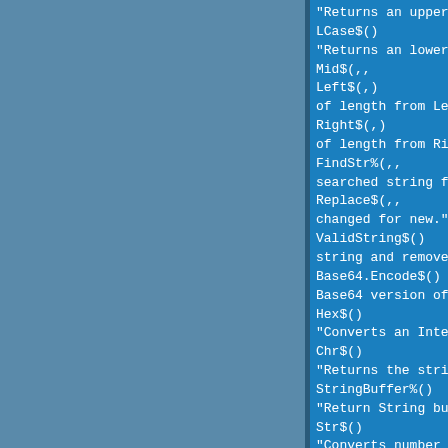"Returns an upper case version of the source string."
LCase$()
"Returns an lower case version of the source string."
Mid$(,,                                         "Returns..."
Left$(,)
of length from Left side of source string."
Right$(,)
of length from Right side of source string."
FindStr%(,,
searched string from a source string."
Replace$(,,                                     "Returns..."
changed for new."
ValidString$()
string and removes invalid characters."
Base64.Encode$()
Base64 version of string."
Hex$()
"Converts an Integer into a Hexidecimal String."
Chr$()
"Returns the string character of the given ASCII code."
StringBuffer%()
"Return String buffer Pos (really for z80 assembly)."
Str$()
"Converts number into a string"
String.Memory%()
"Return size in bytes of useable String space."
String.Free%()
"Return size in bytes of free String space."